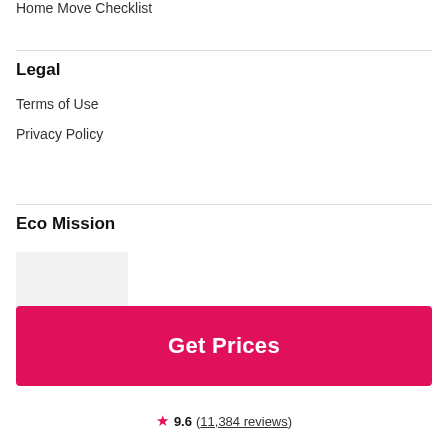Home Move Checklist
Legal
Terms of Use
Privacy Policy
Eco Mission
[Figure (photo): Light grey placeholder image for Eco Mission section]
Get Prices
9.6 (11,384 reviews)